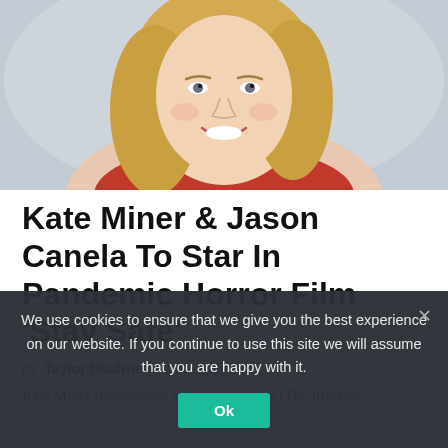[Figure (photo): Portrait photo of a smiling blonde woman wearing a red top, photographed against a light gray background.]
Kate Miner & Jason Canela To Star In Pandemic Horror Film 'Stay Safe'
by Taylor Gladwin · June 2, 2022
Kate Miner (Shameless) and Jason Canela (The Rookie)
We use cookies to ensure that we give you the best experience on our website. If you continue to use this site we will assume that you are happy with it.
Ok